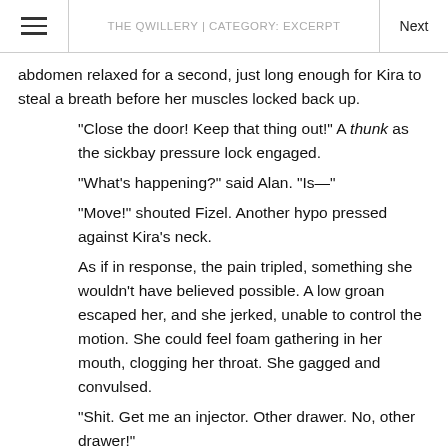THE QWILLERY | CATEGORY: EXCERPT
abdomen relaxed for a second, just long enough for Kira to steal a breath before her muscles locked back up.
“Close the door! Keep that thing out!” A thunk as the sickbay pressure lock engaged.
“What’s happening?” said Alan. “Is—”
“Move!” shouted Fizel. Another hypo pressed against Kira’s neck.
As if in response, the pain tripled, something she wouldn’t have believed possible. A low groan escaped her, and she jerked, unable to control the motion. She could feel foam gathering in her mouth, clogging her throat. She gagged and convulsed.
“Shit. Get me an injector. Other drawer. No, other drawer!”
“Doc—”
“Not now!”